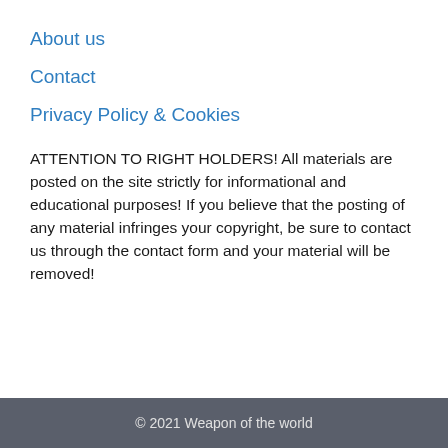About us
Contact
Privacy Policy & Cookies
ATTENTION TO RIGHT HOLDERS! All materials are posted on the site strictly for informational and educational purposes! If you believe that the posting of any material infringes your copyright, be sure to contact us through the contact form and your material will be removed!
© 2021 Weapon of the world